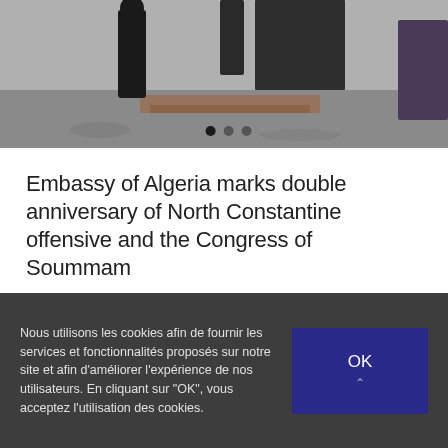[Figure (photo): Photograph showing people standing outdoors, likely at an embassy or official building. Image appears partially cropped at top. Carousel dots visible at bottom of image.]
Embassy of Algeria marks double anniversary of North Constantine offensive and the Congress of Soummam
Par Ambassade Algerie | 19 août 2022 | Catégories : Actualités, En-News
Lire Plus >   💬0
Nous utilisons les cookies afin de fournir les services et fonctionnalités proposés sur notre site et afin d'améliorer l'expérience de nos utilisateurs. En cliquant sur "OK", vous acceptez l'utilisation des cookies.